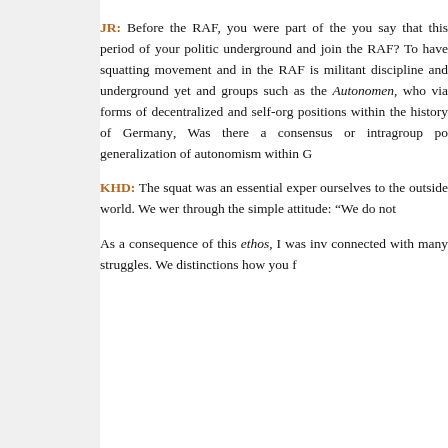JR: Before the RAF, you were part of the squatting movement. Would you say that this period of your political life prepared you to go underground and join the RAF? To have been a member of both the squatting movement and in the RAF is to have engaged in both militant discipline and underground yet open forms of political practice, and groups such as the Autonomen, who combined both possibilities via forms of decentralized and self-organized practice occupy unique positions within the history of Germany’s radical political movements. Was there a consensus or intragroup perspective on the broader generalization of autonomism within G
KHD: The squat was an essential experience of how we present ourselves to the outside world. We were very much defined through the simple attitude: “We do not
As a consequence of this ethos, I was in… connected with many struggles. We… dis…